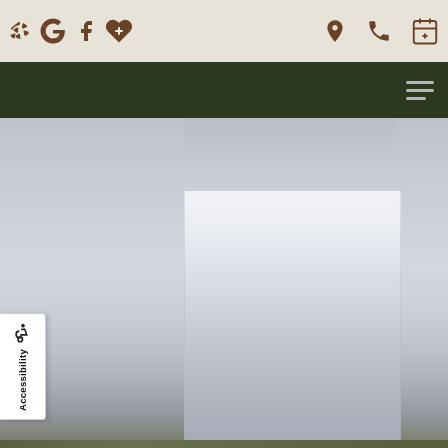Website header with social icons (Yelp, Google, Facebook, Healthgrades), location pin, phone, and appointment calendar icons, followed by dark navigation bar with hamburger menu
[Figure (photo): Foggy outdoor scene showing a large tall structure or monument partially obscured by fog or mist, set against a gray overcast sky with a hint of green ground at the bottom]
Accessibility